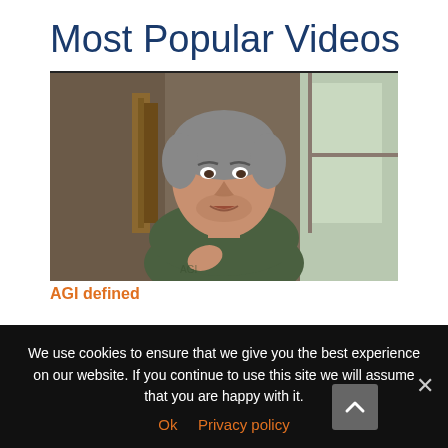Most Popular Videos
[Figure (photo): Video thumbnail showing a middle-aged man with grey hair wearing a dark green t-shirt, speaking to camera in front of a window and bookshelf]
AGI defined
We use cookies to ensure that we give you the best experience on our website. If you continue to use this site we will assume that you are happy with it.
Ok   Privacy policy